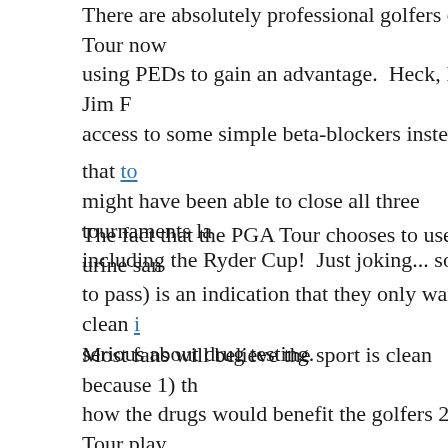There are absolutely professional golfers on Tour now using PEDs to gain an advantage. Heck, I wish Jim F access to some simple beta-blockers instead of that tox might have been able to close all three tournaments la including the Ryder Cup! Just joking... sort of.
The fact that the PGA Tour chooses to use urine sam to pass) is an indication that they only want a clean i serious about drug testing.
Most fans will believe the sport is clean because 1) th how the drugs would benefit the golfers 2) Tour play professional wrestlers and 3) they are led to believe th testing procedures the PGA has chosen to use are str coaches commented on urine testing by saying "They athletes if the urine alone it could be impact